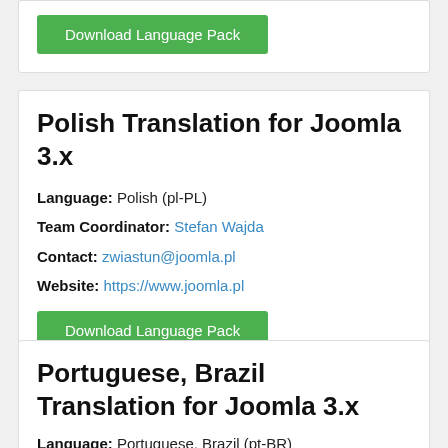Download Language Pack
Polish Translation for Joomla 3.x
Language: Polish (pl-PL)
Team Coordinator: Stefan Wajda
Contact: zwiastun@joomla.pl
Website: https://www.joomla.pl
Download Language Pack
Portuguese, Brazil Translation for Joomla 3.x
Language: Portuguese, Brazil (pt-BR)
Team Coordinator: Helvecio da Silva